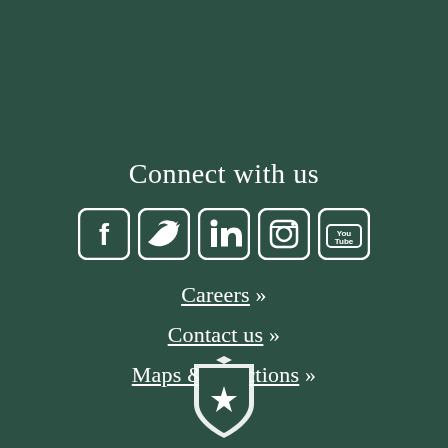Connect with us
[Figure (illustration): Social media icons: Facebook, Twitter, LinkedIn, Instagram, YouTube — white rounded square icons on dark green background]
Careers »
Contact us »
Maps & directions »
[Figure (logo): White shield/crest logo with a star, partially visible at bottom center of page]